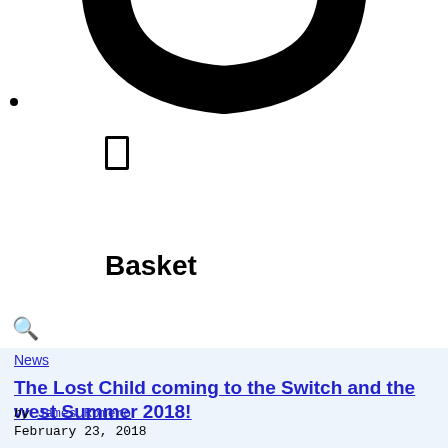[Figure (illustration): Partial view of a basket/shopping cart icon — large black handle curve shape cropped at top of page, with a bullet point and small rectangle below it]
Basket
🔍
News
The Lost Child coming to the Switch and the west Summer 2018!
by James Romero
February 23, 2018